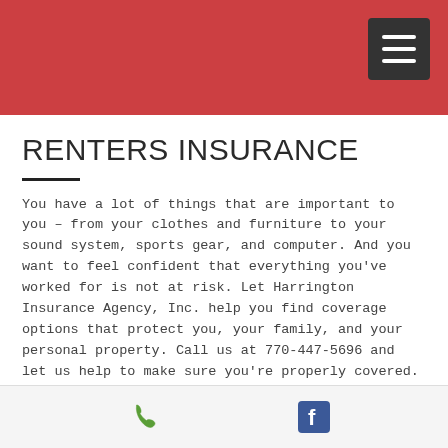RENTERS INSURANCE
You have a lot of things that are important to you – from your clothes and furniture to your sound system, sports gear, and computer. And you want to feel confident that everything you've worked for is not at risk. Let Harrington Insurance Agency, Inc. help you find coverage options that protect you, your family, and your personal property. Call us at 770-447-5696 and let us help to make sure you're properly covered.